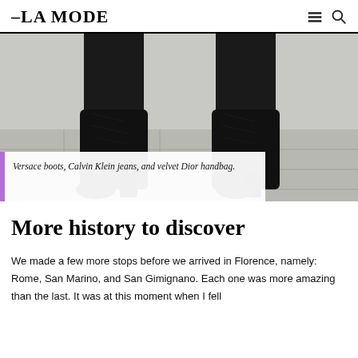-LA MODE
[Figure (photo): Close-up photo of a person wearing black high-heeled boots (over-the-knee style) and black jeans, standing on stone pavement.]
Versace boots, Calvin Klein jeans, and velvet Dior handbag.
More history to discover
We made a few more stops before we arrived in Florence, namely: Rome, San Marino, and San Gimignano. Each one was more amazing than the last. It was at this moment when I fell